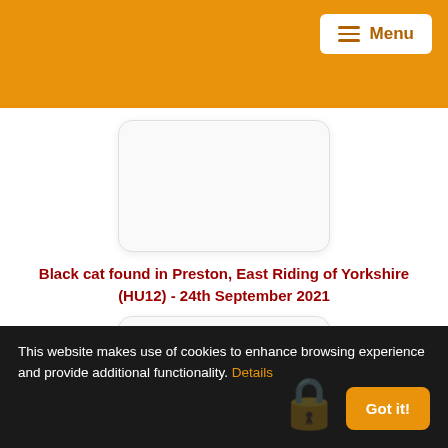Menu
[Figure (photo): White rounded card placeholder image 1]
Black cat found in Preston, East Riding of Yorkshire (HU12) - 24th September 2021
[Figure (photo): White rounded card placeholder image 2]
Black and White cat found in Kingston upon Hull, East
This website makes use of cookies to enhance browsing experience and provide additional functionality. Details
Got it!